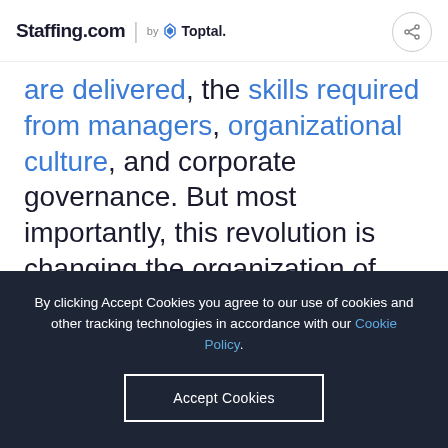Staffing.com | by Toptal
are delivered, the skills required from managers, organizational culture, and corporate governance. But most importantly, this revolution is changing the organization of labor.
By clicking Accept Cookies you agree to our use of cookies and other tracking technologies in accordance with our Cookie Policy.
Accept Cookies